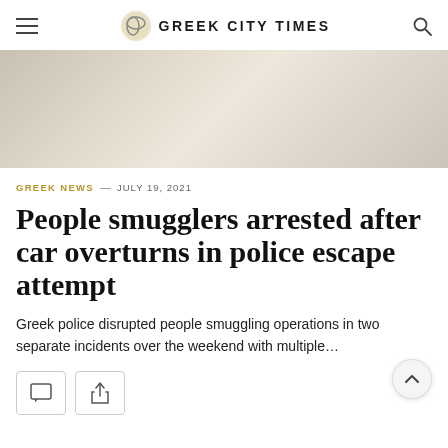GREEK CITY TIMES
[Figure (photo): Blurred beige/tan abstract background image, possibly an outdoor scene with muted tones]
GREEK NEWS — JULY 19, 2021
People smugglers arrested after car overturns in police escape attempt
Greek police disrupted people smuggling operations in two separate incidents over the weekend with multiple…